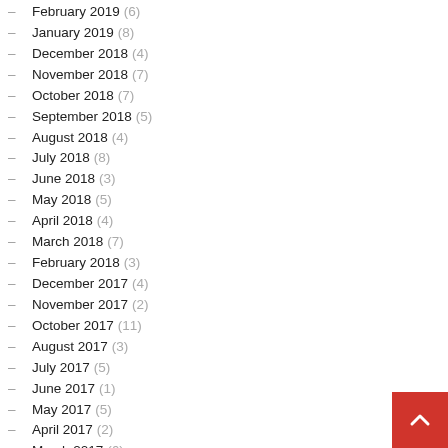– February 2019 (6)
– January 2019 (8)
– December 2018 (4)
– November 2018 (7)
– October 2018 (7)
– September 2018 (5)
– August 2018 (4)
– July 2018 (8)
– June 2018 (3)
– May 2018 (5)
– April 2018 (4)
– March 2018 (7)
– February 2018 (3)
– December 2017 (4)
– November 2017 (2)
– October 2017 (11)
– August 2017 (3)
– July 2017 (5)
– June 2017 (1)
– May 2017 (5)
– April 2017 (2)
– March 2017 (6)
– February 2017 (4)
– January 2017 (8)